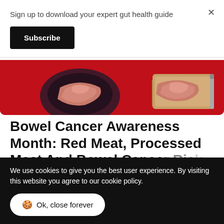Sign up to download your expert gut health guide
Subscribe
[Figure (illustration): Illustration of red meat and processed meat on a red background]
Bowel Cancer Awareness Month: Red Meat, Processed Meat And Bowel Cancer Risk
Learn more
28 April • 8 min read
We use cookies to give you the best user experience. By visiting this website you agree to our cookie policy.
Ok, close forever